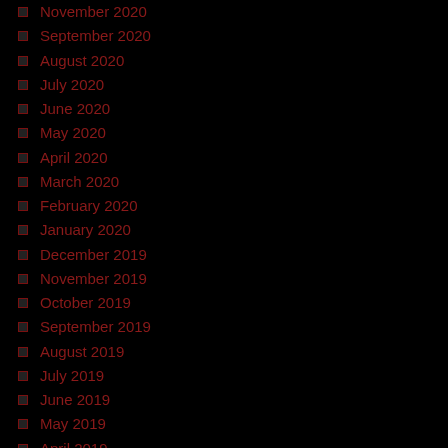November 2020
September 2020
August 2020
July 2020
June 2020
May 2020
April 2020
March 2020
February 2020
January 2020
December 2019
November 2019
October 2019
September 2019
August 2019
July 2019
June 2019
May 2019
April 2019
March 2019
February 2019
January 2019
December 2018
November 2018